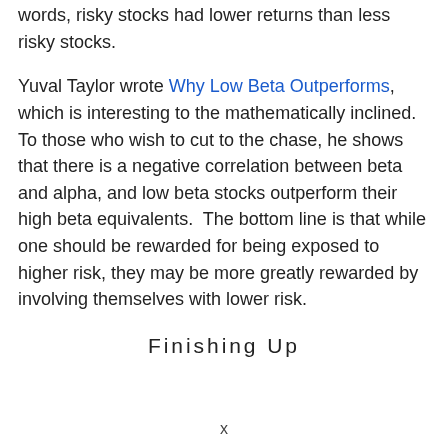words, risky stocks had lower returns than less risky stocks.
Yuval Taylor wrote Why Low Beta Outperforms, which is interesting to the mathematically inclined.  To those who wish to cut to the chase, he shows that there is a negative correlation between beta and alpha, and low beta stocks outperform their high beta equivalents.  The bottom line is that while one should be rewarded for being exposed to higher risk, they may be more greatly rewarded by involving themselves with lower risk.
Finishing Up